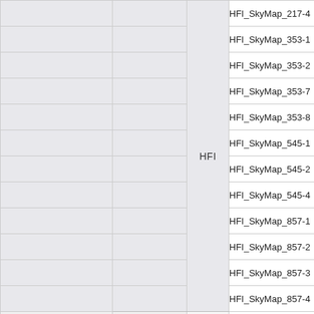|  |  | HFI/LFI | SkyMap Name |
| --- | --- | --- | --- |
|  |  | HFI | HFI_SkyMap_217-4 |
|  |  | HFI | HFI_SkyMap_353-1 |
|  |  | HFI | HFI_SkyMap_353-2 |
|  |  | HFI | HFI_SkyMap_353-7 |
|  |  | HFI | HFI_SkyMap_353-8 |
|  |  | HFI | HFI_SkyMap_545-1 |
|  |  | HFI | HFI_SkyMap_545-2 |
|  |  | HFI | HFI_SkyMap_545-4 |
|  |  | HFI | HFI_SkyMap_857-1 |
|  |  | HFI | HFI_SkyMap_857-2 |
|  |  | HFI | HFI_SkyMap_857-3 |
|  |  | HFI | HFI_SkyMap_857-4 |
|  |  | LFI | LFI_SkyMap_030-2 |
|  |  | LFI | LFI_SkyMap_030-2 |
|  |  | LFI | LFI_SkyMap_030-2 |
|  |  | LFI | LFI_SkyMap_030-2 |